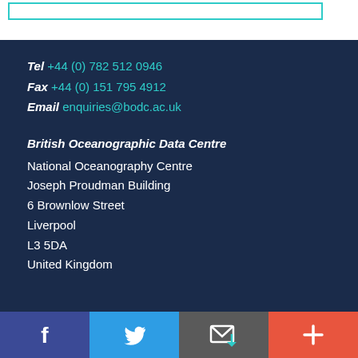Tel +44 (0) 782 512 0946
Fax +44 (0) 151 795 4912
Email enquiries@bodc.ac.uk
British Oceanographic Data Centre
National Oceanography Centre
Joseph Proudman Building
6 Brownlow Street
Liverpool
L3 5DA
United Kingdom
[Figure (infographic): Social media bar with four buttons: Facebook (purple), Twitter (blue), email/envelope (dark grey), and plus/more (red-orange)]